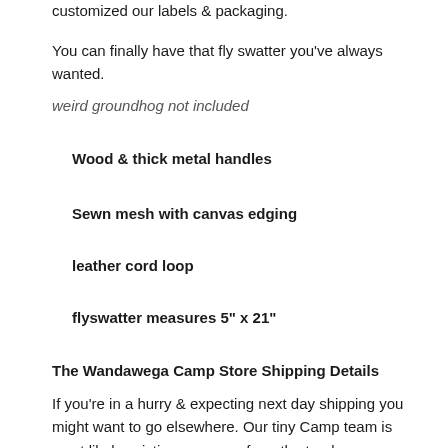customized our labels & packaging.
You can finally have that fly swatter you've always wanted.
weird groundhog not included
Wood & thick metal handles
Sewn mesh with canvas edging
leather cord loop
flyswatter measures 5" x 21"
The Wandawega Camp Store Shipping Details
If you're in a hurry & expecting next day shipping you might want to go elsewhere. Our tiny Camp team is most likely evicting raccoons from the treehouse or rescuing a lost canoe across the lake. We have a minimum order of $40 & we'll pull,